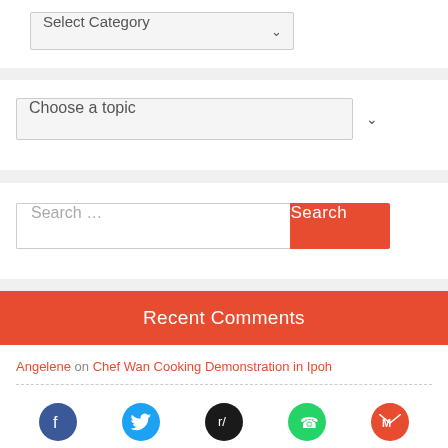Select Category
Choose a topic
Search ...
Recent Comments
Angelene on Chef Wan Cooking Demonstration in Ipoh
Angelene on International IPOH Fashion Week (IIFW™)